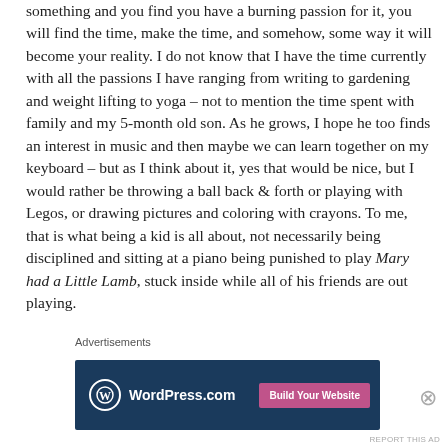something and you find you have a burning passion for it, you will find the time, make the time, and somehow, some way it will become your reality. I do not know that I have the time currently with all the passions I have ranging from writing to gardening and weight lifting to yoga – not to mention the time spent with family and my 5-month old son. As he grows, I hope he too finds an interest in music and then maybe we can learn together on my keyboard – but as I think about it, yes that would be nice, but I would rather be throwing a ball back & forth or playing with Legos, or drawing pictures and coloring with crayons. To me, that is what being a kid is all about, not necessarily being disciplined and sitting at a piano being punished to play Mary had a Little Lamb, stuck inside while all of his friends are out playing.
Advertisements
[Figure (other): WordPress.com advertisement banner with blue background, WordPress logo on the left, and a pink 'Build Your Website' button on the right]